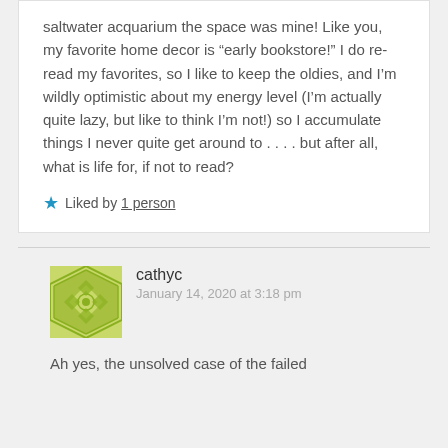saltwater acquarium the space was mine! Like you, my favorite home decor is “early bookstore!” I do re-read my favorites, so I like to keep the oldies, and I’m wildly optimistic about my energy level (I’m actually quite lazy, but like to think I’m not!) so I accumulate things I never quite get around to . . . . but after all, what is life for, if not to read?
Liked by 1 person
[Figure (illustration): Green geometric avatar icon for user cathyc]
cathyc
January 14, 2020 at 3:18 pm
Ah yes, the unsolved case of the failed